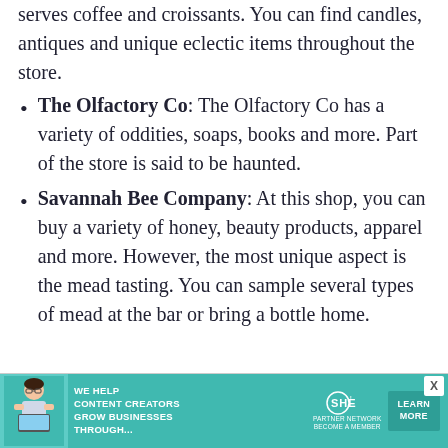serves coffee and croissants. You can find candles, antiques and unique eclectic items throughout the store.
The Olfactory Co: The Olfactory Co has a variety of oddities, soaps, books and more. Part of the store is said to be haunted.
Savannah Bee Company: At this shop, you can buy a variety of honey, beauty products, apparel and more. However, the most unique aspect is the mead tasting. You can sample several types of mead at the bar or bring a bottle home.
[Figure (infographic): Advertisement banner for SHE Media Partner Network. Teal/turquoise background. Shows woman with laptop. Text: 'WE HELP CONTENT CREATORS GROW BUSINESSES THROUGH...' with SHE Media logo and 'LEARN MORE' button.]